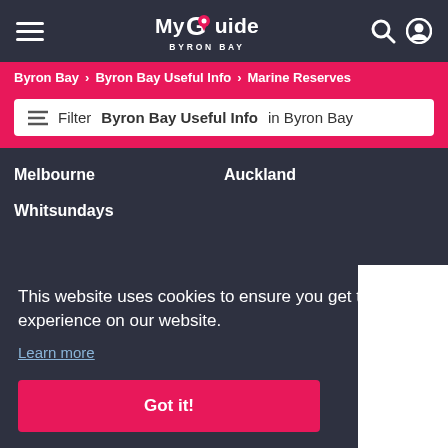My Guide Byron Bay
Byron Bay > Byron Bay Useful Info > Marine Reserves
Filter Byron Bay Useful Info in Byron Bay
Melbourne
Auckland
Whitsundays
This website uses cookies to ensure you get the best experience on our website. Learn more
Got it!